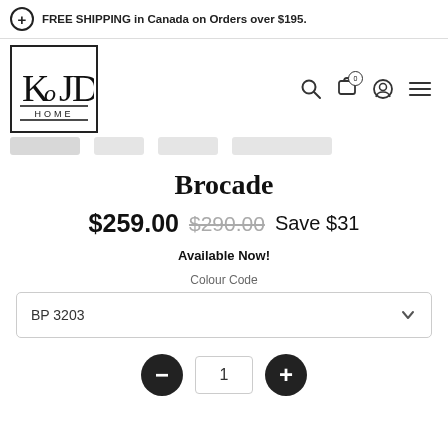FREE SHIPPING in Canada on Orders over $195.
[Figure (logo): KoJD Home logo — stylized letters K, o, J, D inside a square border with HOME text below]
Colour Code
Brocade
$259.00  $290.00  Save $31
Available Now!
Colour Code
BP 3203